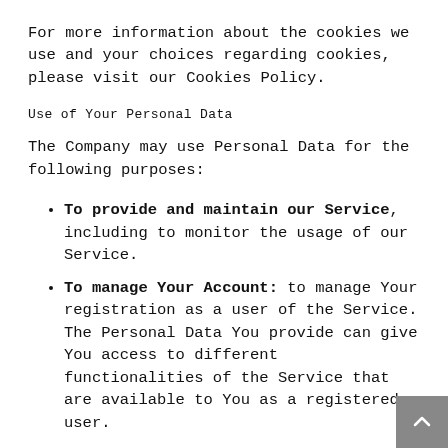For more information about the cookies we use and your choices regarding cookies, please visit our Cookies Policy.
Use of Your Personal Data
The Company may use Personal Data for the following purposes:
To provide and maintain our Service, including to monitor the usage of our Service.
To manage Your Account: to manage Your registration as a user of the Service. The Personal Data You provide can give You access to different functionalities of the Service that are available to You as a registered user.
For the performance of a contract: the development, compliance and undertaking of the